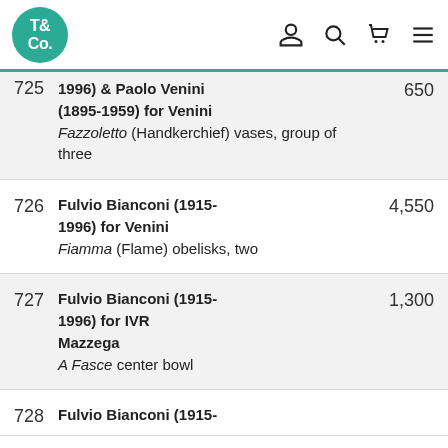T& Co. logo with navigation icons
| Lot | Description | Price |
| --- | --- | --- |
| 725 | Fulvio Bianconi (1915-1996) & Paolo Venini (1895-1959) for Venini – Fazzoletto (Handkerchief) vases, group of three | 650 |
| 726 | Fulvio Bianconi (1915-1996) for Venini – Fiamma (Flame) obelisks, two | 4,550 |
| 727 | Fulvio Bianconi (1915-1996) for IVR Mazzega – A Fasce center bowl | 1,300 |
| 728 | Fulvio Bianconi (1915- |  |